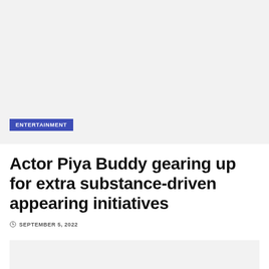[Figure (photo): Large image placeholder area at top of article]
ENTERTAINMENT
Actor Piya Buddy gearing up for extra substance-driven appearing initiatives
SEPTEMBER 5, 2022
[Figure (photo): Article image placeholder at bottom]